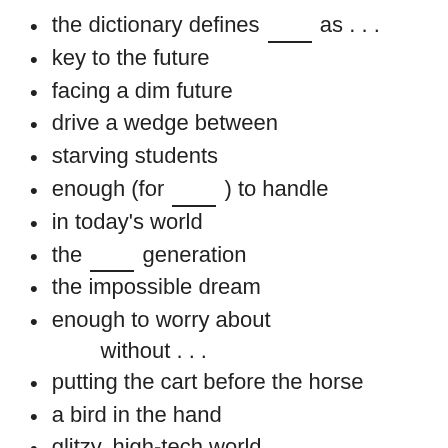the dictionary defines _____ as . . .
key to the future
facing a dim future
drive a wedge between
starving students
enough (for _____ ) to handle
in today's world
the _____ generation
the impossible dream
enough to worry about without . . .
putting the cart before the horse
a bird in the hand
glitzy, high-tech world